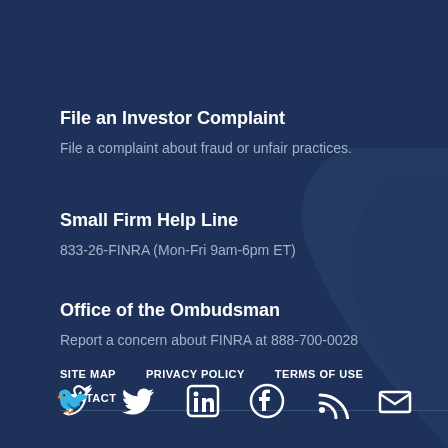File an Investor Complaint
File a complaint about fraud or unfair practices.
Small Firm Help Line
833-26-FINRA (Mon-Fri 9am-6pm ET)
Office of the Ombudsman
Report a concern about FINRA at 888-700-0028
SITE MAP   PRIVACY POLICY   TERMS OF USE   CONTACT
[Figure (infographic): Social media icons: Twitter, LinkedIn, Facebook, RSS feed, Email]